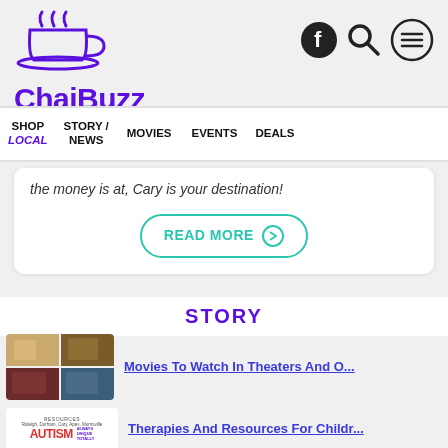[Figure (logo): ChaiBuzz logo with purple teacup icon and purple bold text 'ChaiBuzz']
[Figure (illustration): Header icons: Facebook circle icon, search/magnifying glass icon, hamburger menu icon in circle]
SHOP LOCAL  STORY / NEWS  MOVIES  EVENTS  DEALS
the money is at, Cary is your destination!
READ MORE →
STORY
[Figure (photo): 2x2 grid of movie thumbnails]
Movies To Watch In Theaters And O...
[Figure (illustration): Autism resources thumbnail with text RESOURCES, city names, AUTISM, Always Unique Totally Incredible]
Therapies And Resources For Childr...